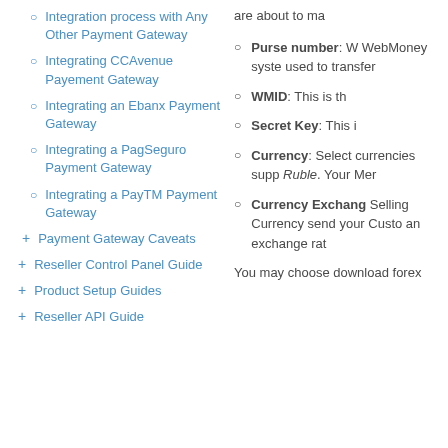Integration process with Any Other Payment Gateway
Integrating CCAvenue Payement Gateway
Integrating an Ebanx Payment Gateway
Integrating a PagSeguro Payment Gateway
Integrating a PayTM Payment Gateway
Payment Gateway Caveats
Reseller Control Panel Guide
Product Setup Guides
Reseller API Guide
are about to ma
Purse number: W WebMoney syste used to transfer
WMID: This is th
Secret Key: This i
Currency: Select currencies supp Ruble. Your Mer
Currency Exchang Selling Currency send your Custo an exchange rat
You may choose download forex